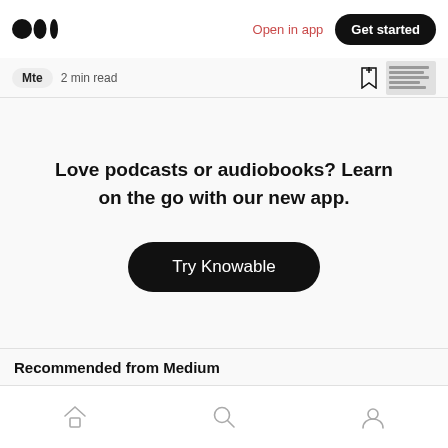Medium logo | Open in app | Get started
Mte  2 min read
Love podcasts or audiobooks? Learn on the go with our new app.
Try Knowable
Recommended from Medium
Home | Search | Profile